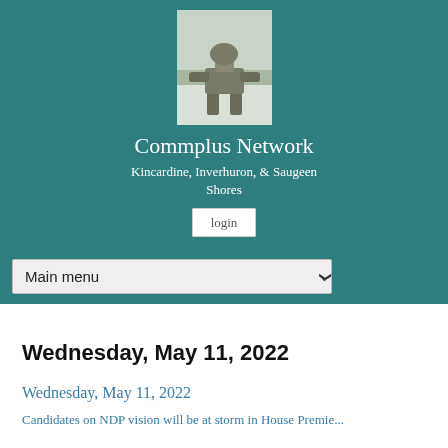[Figure (photo): Inukshuk stone statue photo in teal header banner]
Commplus Network
Kincardine, Inverhuron, & Saugeen Shores
login
Main menu
Wednesday, May 11, 2022
Wednesday, May 11, 2022
Candidates on NDP vision will be at storm in House Premie...